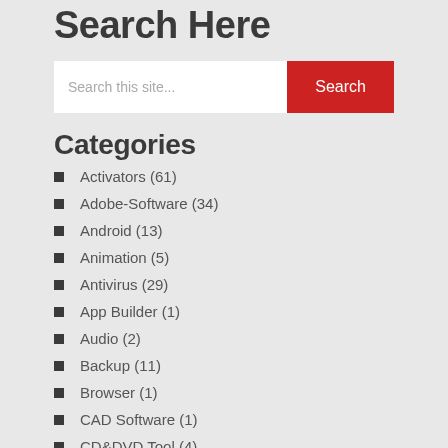Search Here
[Figure (screenshot): Search input box with placeholder 'Search this site...' and a red Search button]
Categories
Activators (61)
Adobe-Software (34)
Android (13)
Animation (5)
Antivirus (29)
App Builder (1)
Audio (2)
Backup (11)
Browser (1)
CAD Software (1)
CD&DVD Tool (4)
Compression (2)